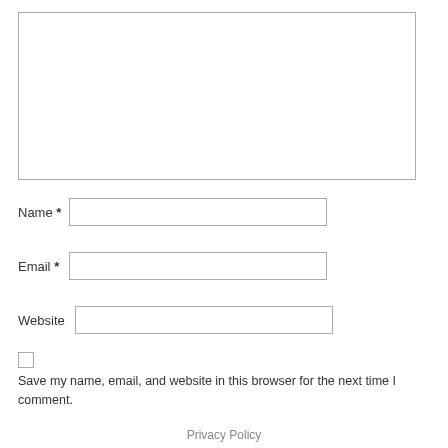[Figure (screenshot): Large textarea input box for comment text]
Name *
[Figure (screenshot): Name text input field]
Email *
[Figure (screenshot): Email text input field]
Website
[Figure (screenshot): Website text input field]
[Figure (screenshot): Unchecked checkbox]
Save my name, email, and website in this browser for the next time I comment.
Post Comment
Privacy Policy